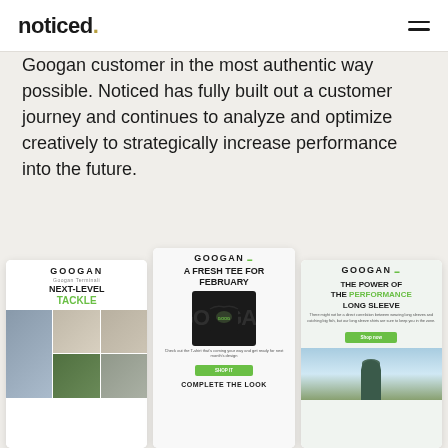noticed.
Googan customer in the most authentic way possible. Noticed has fully built out a customer journey and continues to analyze and optimize creatively to strategically increase performance into the future.
[Figure (screenshot): Three email campaign screenshots from Googan brand: 'Next-Level Tackle', 'A Fresh Tee for February', and 'The Power of the Performance Long Sleeve']